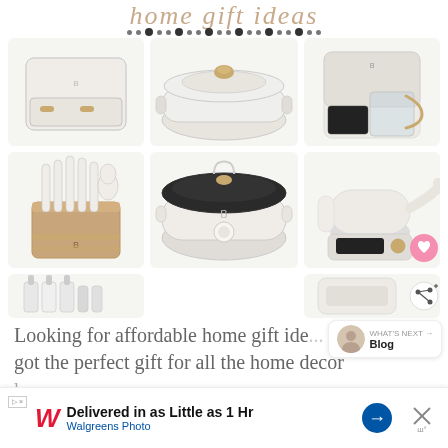home gift ideas
[Figure (photo): Grid of white and gold kitchen appliances and cookware: toaster/bread box, dutch oven, coffee maker, knife block, slow cooker, electric kettle, and partial images of other kitchen items]
Looking for affordable home gift ide... got the perfect gift for all the home decor lo...
[Figure (infographic): WHAT'S NEXT arrow badge with Blog label and person photo thumbnail]
[Figure (infographic): Walgreens ad banner: Delivered in as Little as 1 Hr - Walgreens Photo, with blue arrow and close X button]